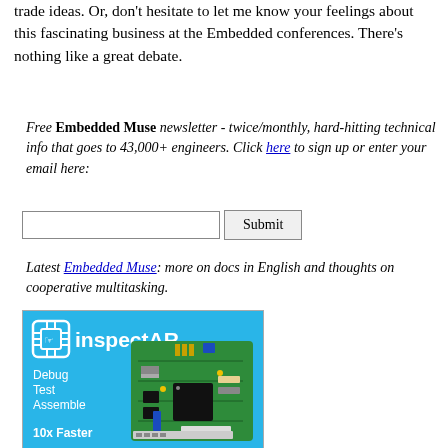trade ideas. Or, don't hesitate to let me know your feelings about this fascinating business at the Embedded conferences. There's nothing like a great debate.
Free Embedded Muse newsletter - twice/monthly, hard-hitting technical info that goes to 43,000+ engineers. Click here to sign up or enter your email here:
Latest Embedded Muse: more on docs in English and thoughts on cooperative multitasking.
[Figure (logo): inspectAR advertisement banner with cyan/blue background showing logo, PCB image, and text: Debug, Test, Assemble, 10x Faster]